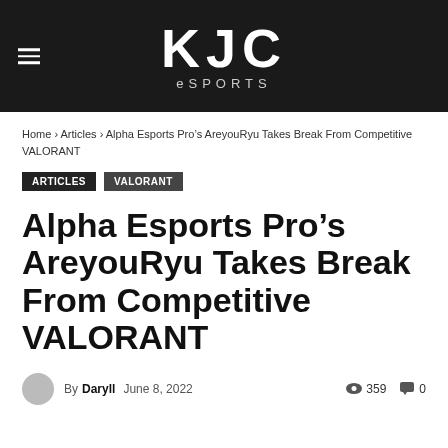KJC eSPORTS
Home › Articles › Alpha Esports Pro's AreyouRyu Takes Break From Competitive VALORANT
Articles  VALORANT
Alpha Esports Pro's AreyouRyu Takes Break From Competitive VALORANT
By Daryll  June 8, 2022  359  0